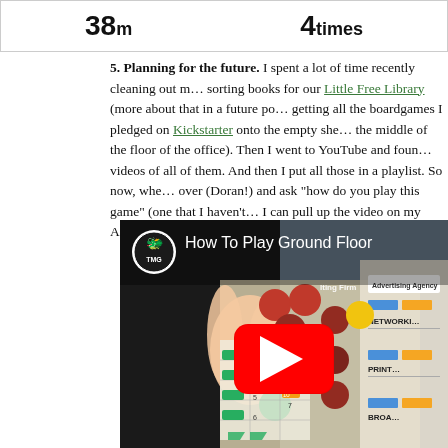[Figure (other): Stats bar showing '38m' and '4 times']
5. Planning for the future. I spent a lot of time recently cleaning out my sorting books for our Little Free Library (more about that in a future post), getting all the boardgames I pledged on Kickstarter onto the empty shelves (in the middle of the floor of the office). Then I went to YouTube and found videos of all of them. And then I put all those in a playlist. So now, when someone comes over (Doran!) and ask "how do you play this game" (one that I haven't played yet), I can pull up the video on my Apple TV.
[Figure (screenshot): YouTube video thumbnail for 'How To Play Ground Floor' by TMG, showing board game pieces and a YouTube play button overlay]